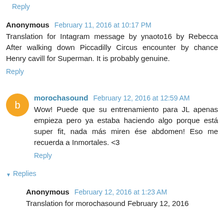Reply
Anonymous  February 11, 2016 at 10:17 PM
Translation for Intagram message by ynaoto16 by Rebecca After walking down Piccadilly Circus encounter by chance Henry cavill for Superman. It is probably genuine.
Reply
morochasound  February 12, 2016 at 12:59 AM
Wow! Puede que su entrenamiento para JL apenas empieza pero ya estaba haciendo algo porque está super fit, nada más miren ése abdomen! Eso me recuerda a Inmortales. <3
Reply
▼ Replies
Anonymous  February 12, 2016 at 1:23 AM
Translation for morochasound February 12, 2016